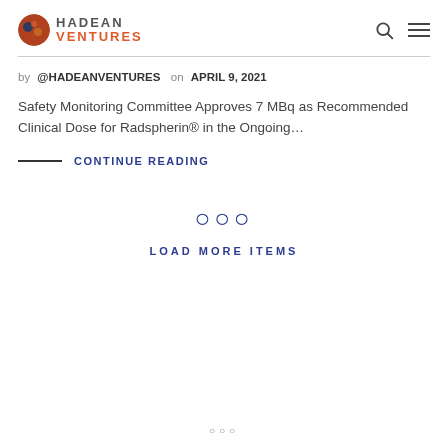HADEAN VENTURES
by @HADEANVENTURES on APRIL 9, 2021
Safety Monitoring Committee Approves 7 MBq as Recommended Clinical Dose for Radspherin® in the Ongoing…
— CONTINUE READING
OOO LOAD MORE ITEMS
ooo